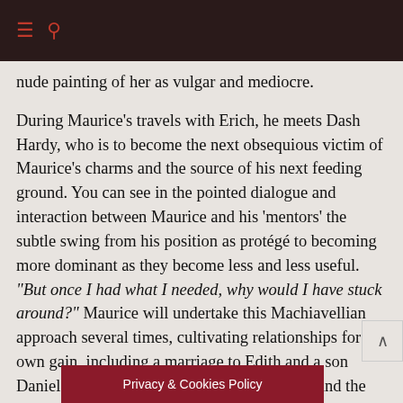≡  🔍
nude painting of her as vulgar and mediocre.
During Maurice's travels with Erich, he meets Dash Hardy, who is to become the next obsequious victim of Maurice's charms and the source of his next feeding ground. You can see in the pointed dialogue and interaction between Maurice and his 'mentors' the subtle swing from his position as protégé to becoming more dominant as they become less and less useful.  "But once I had what I needed, why would I have stuck around?" Maurice will undertake this Machiavellian approach several times, cultivating relationships for his own gain, including a marriage to Edith and a son Daniel. However, as time passes, looks fade, and the carnage becomes apparent in the rearview mirror, the carnage that may be...
Privacy & Cookies Policy